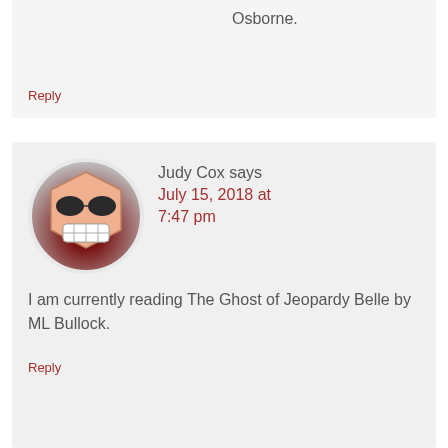Osborne.
Reply
Judy Cox says
July 15, 2018 at 7:47 pm
[Figure (illustration): Round avatar icon showing a cartoon face with sunglasses and a wide grin, hexagonal head shape, peach skin tone, on a dark red circular background.]
I am currently reading The Ghost of Jeopardy Belle by ML Bullock.
Reply